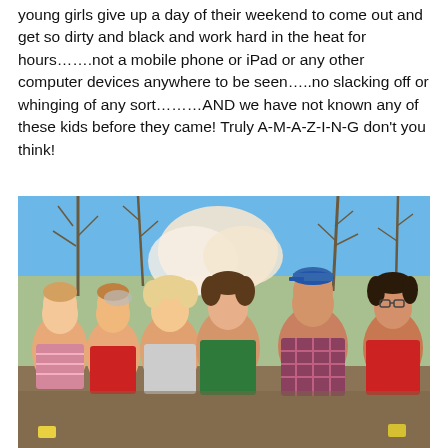young girls give up a day of their weekend to come out and get so dirty and black and work hard in the heat for hours…….not a mobile phone or iPad or any other computer devices anywhere to be seen…..no slacking off or whinging of any sort………AND we have not known any of these kids before they came! Truly A-M-A-Z-I-N-G don't you think!
[Figure (photo): Group photo of six young girls/teenagers smiling outdoors in a park setting with bare trees and blue sky in the background. They are standing close together with arms around each other. They are wearing casual clothing including red, grey, green and plaid shirts. One is wearing a blue cap.]